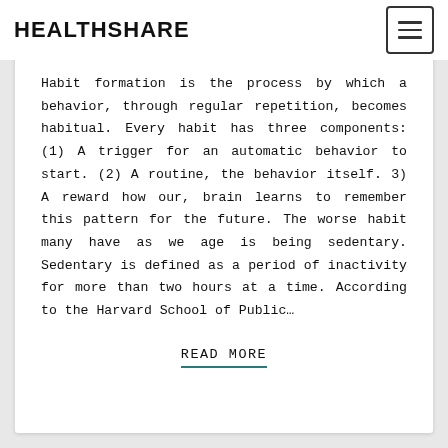HEALTHSHARE
Habit formation is the process by which a behavior, through regular repetition, becomes habitual. Every habit has three components: (1) A trigger for an automatic behavior to start. (2) A routine, the behavior itself. 3) A reward how our, brain learns to remember this pattern for the future. The worse habit many have as we age is being sedentary. Sedentary is defined as a period of inactivity for more than two hours at a time. According to the Harvard School of Public…
READ MORE